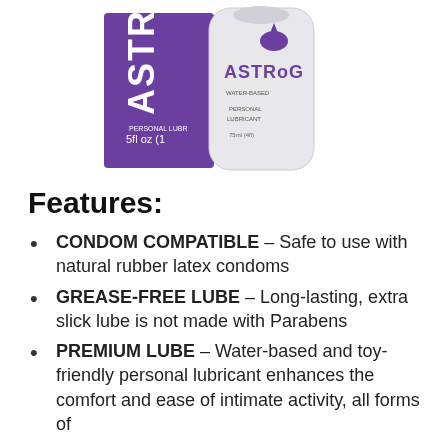[Figure (photo): Product photo of Astroglide personal lubricant — purple box and clear bottle with purple cap and drop logo, 5fl oz size]
Features:
CONDOM COMPATIBLE – Safe to use with natural rubber latex condoms
GREASE-FREE LUBE – Long-lasting, extra slick lube is not made with Parabens
PREMIUM LUBE – Water-based and toy-friendly personal lubricant enhances the comfort and ease of intimate activity, all forms of